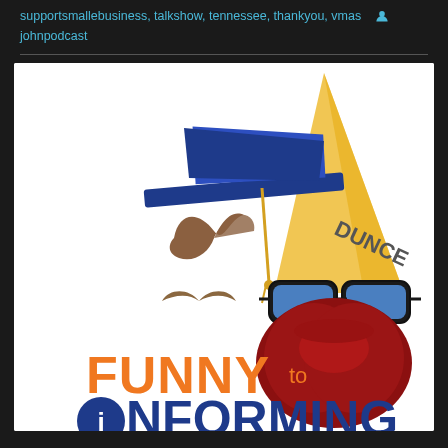supportsmallebusiness, talkshow, tennessee, thankyou, vmas  @johnpodcast
[Figure (logo): Podcast logo for 'Funny to Informing' showing a graduation cap with mustache on left side, a dunce cap on the right, sunglasses with a red beard below, and the text 'FUNNY to INFORMING' at the bottom where the 'i' in INFORMING is styled as an info icon.]